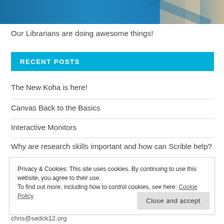[Figure (photo): Partial photo of books or library materials in blue tones, cropped at top of page]
Our Librarians are doing awesome things!
RECENT POSTS
The New Koha is here!
Canvas Back to the Basics
Interactive Monitors
Why are research skills important and how can Scrible help?
Privacy & Cookies: This site uses cookies. By continuing to use this website, you agree to their use.
To find out more, including how to control cookies, see here: Cookie Policy
chris@sedck12.org